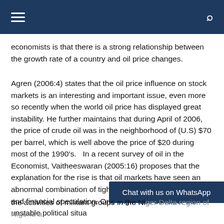economists is that there is a strong relationship between the growth rate of a country and oil price changes.
Agren (2006:4) states that the oil price influence on stock markets is an interesting and important issue, even more so recently when the world oil price has displayed great instability. He further maintains that during April of 2006, the price of crude oil was in the neighborhood of (U.S) $70 per barrel, which is well above the price of $20 during most of the 1990's.   In a recent survey of oil in the Economist, Vaitheeswaran (2005:16) proposes that the explanation for the rise is that oil markets have seen an abnormal combination of tight supply, surging demand, and financial speculation. One might also consider the unstable political situa the activities of militant groups in the Niger Delta region of Nigeria a candidate cause for the rise in oil prices.